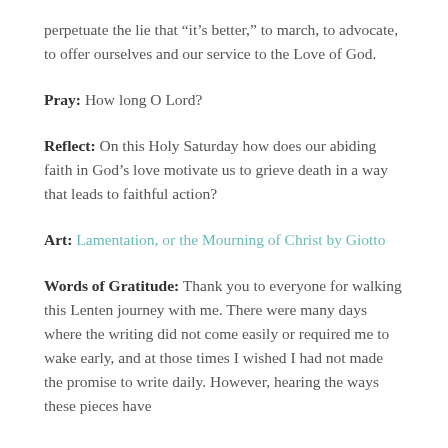perpetuate the lie that “it’s better,” to march, to advocate, to offer ourselves and our service to the Love of God.
Pray:  How long O Lord?
Reflect: On this Holy Saturday how does our abiding faith in God’s love motivate us to grieve death in a way that leads to faithful action?
Art:  Lamentation, or the Mourning of Christ by Giotto
Words of Gratitude: Thank you to everyone for walking this Lenten journey with me. There were many days where the writing did not come easily or required me to wake early, and at those times I wished I had not made the promise to write daily. However, hearing the ways these pieces have